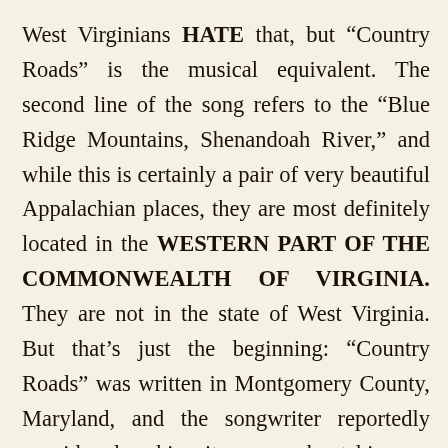West Virginians HATE that, but “Country Roads” is the musical equivalent. The second line of the song refers to the “Blue Ridge Mountains, Shenandoah River,” and while this is certainly a pair of very beautiful Appalachian places, they are most definitely located in the WESTERN PART OF THE COMMONWEALTH OF VIRGINIA. They are not in the state of West Virginia. But that’s just the beginning: “Country Roads” was written in Montgomery County, Maryland, and the songwriter reportedly considered making it a song about his own native Massachusetts, since the word scans similarly (“...the place I belong...